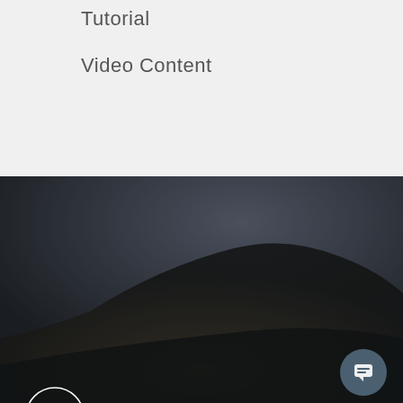Tutorial
Video Content
[Figure (logo): Perpetua Productions circular logo with text 'perpetua' inside a circle outline]
HSBC Tower
Level 26, 188 Quay Street
Auckland
New Zealand
09 570 5530
contact@perpetuaproductions.co.nz